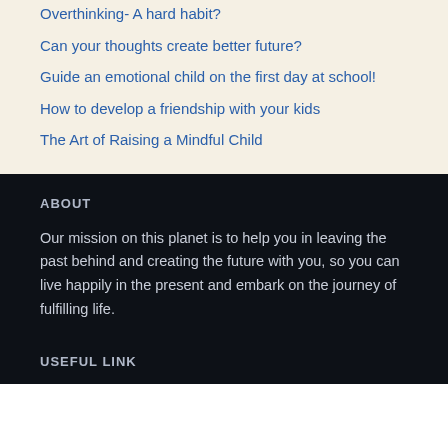Overthinking- A hard habit?
Can your thoughts create better future?
Guide an emotional child on the first day at school!
How to develop a friendship with your kids
The Art of Raising a Mindful Child
ABOUT
Our mission on this planet is to help you in leaving the past behind and creating the future with you, so you can live happily in the present and embark on the journey of fulfilling life.
USEFUL LINK